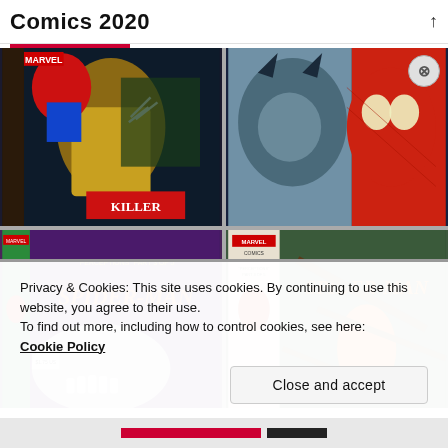Comics 2020
[Figure (photo): Comic book cover showing Spider-Man and Wolverine fighting, with text 'KILLER' visible — Marvel Comics]
[Figure (photo): Comic book cover showing Wolverine and Spider-Man close-up, Marvel Comics]
[Figure (photo): Spider-Man comic 'Perceptions Part 3 of 5' with Venom-like creature, Marvel Comics]
[Figure (photo): Spider-Man comic 'Perceptions Part 3 of 5' alternate edition, Marvel Comics]
Privacy & Cookies: This site uses cookies. By continuing to use this website, you agree to their use.
To find out more, including how to control cookies, see here:
Cookie Policy
Close and accept